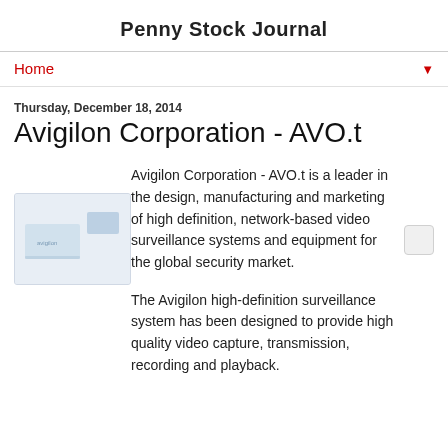Penny Stock Journal
Home
Thursday, December 18, 2014
Avigilon Corporation - AVO.t
[Figure (screenshot): Small thumbnail image of Avigilon product or website screenshot with blue/grey tones]
Avigilon Corporation - AVO.t is a leader in the design, manufacturing and marketing of high definition, network-based video surveillance systems and equipment for the global security market.
The Avigilon high-definition surveillance system has been designed to provide high quality video capture, transmission, recording and playback.